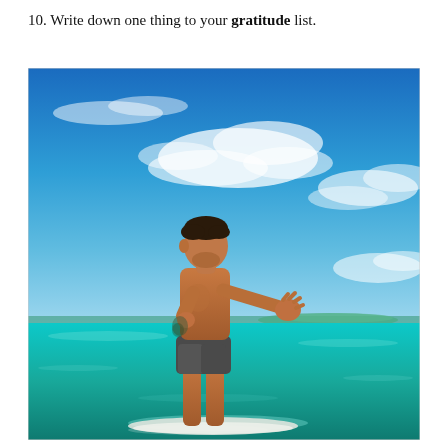10. Write down one thing to your gratitude list.
[Figure (photo): A shirtless man with tattoos stands on a paddleboard on turquoise tropical ocean water, arms outstretched in a balancing pose, with a vivid blue sky and wispy clouds behind him and a low island visible on the horizon.]